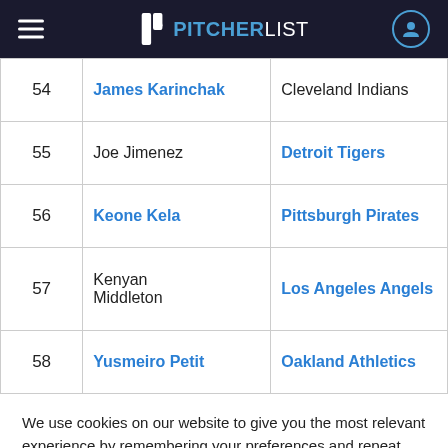PITCHERLIST
| # | Name | Team |
| --- | --- | --- |
| 54 | James Karinchak | Cleveland Indians |
| 55 | Joe Jimenez | Detroit Tigers |
| 56 | Keone Kela | Pittsburgh Pirates |
| 57 | Kenyan Middleton | Los Angeles Angels |
| 58 | Yusmeiro Petit | Oakland Athletics |
We use cookies on our website to give you the most relevant experience by remembering your preferences and repeat visits.
Reject All | Accept All